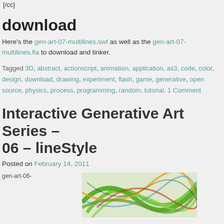[/cc]
download
Here's the gen-art-07-multilines.swf as well as the gen-art-07-multilines.fla to download and tinker.
Tagged 3D, abstract, actionscript, animation, application, as3, code, color, design, download, drawing, experiment, flash, game, generative, open source, physics, process, programming, random, tutorial. 1 Comment
Interactive Generative Art Series – 06 – lineStyle
Posted on February 14, 2011
[Figure (photo): gen-art-06- image placeholder and generative art thumbnail with colorful lines]